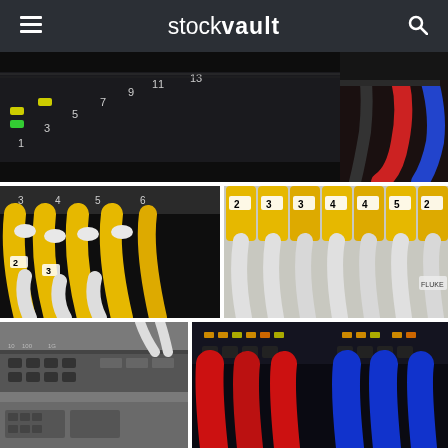stockvault
[Figure (photo): Close-up of a network switch panel with numbered ports (1, 3, 5, 7, 9, 11, 13) shown in white text on dark background, with yellow and green indicator LEDs, and colorful ethernet cables (red, blue) plugged into ports on the right side.]
[Figure (photo): Yellow ethernet patch cables with numbered labels (2, 3) plugged into a network switch, showing white cable connectors and dark background. Port numbers 3, 4, 5, 6 visible on the panel.]
[Figure (photo): Rows of yellow ethernet cable heads with numbered tags (2, 3, 4, 5) and white cables organized in a structured cabling arrangement in a patch panel.]
[Figure (photo): Grayscale image of a network patch panel with multiple ethernet ports and white cables plugged in, showing various connectors and equipment.]
[Figure (photo): Red and blue ethernet cables plugged into a network switch panel with orange/yellow indicator LEDs visible on the equipment.]